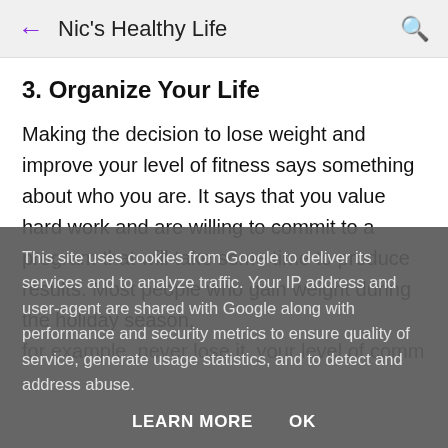← Nic's Healthy Life 🔍
3. Organize Your Life
Making the decision to lose weight and improve your level of fitness says something about who you are. It says that you value hard work and are willing to commit to a program that will take some time to produce results. Most people who gain weight during the holiday season, for example, never lose it. your level of commitment
This site uses cookies from Google to deliver its services and to analyze traffic. Your IP address and user-agent are shared with Google along with performance and security metrics to ensure quality of service, generate usage statistics, and to detect and address abuse.
LEARN MORE   OK